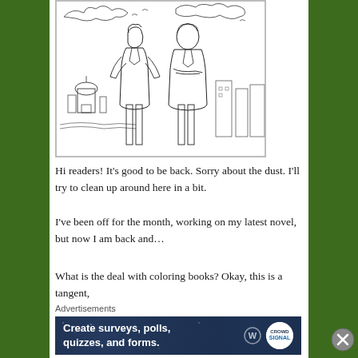[Figure (illustration): Line drawing / coloring book style illustration of two men standing together with a city skyline (including a domed building) and cloudy sky in the background]
Hi readers! It's good to be back. Sorry about the dust. I'll try to clean up around here in a bit.
I've been off for the month, working on my latest novel, but now I am back and…
What is the deal with coloring books? Okay, this is a tangent,
Advertisements
[Figure (screenshot): Advertisement banner: dark navy background with white bold text reading 'Create surveys, polls, quizzes, and forms.' with WordPress logo and a circular badge on the right]